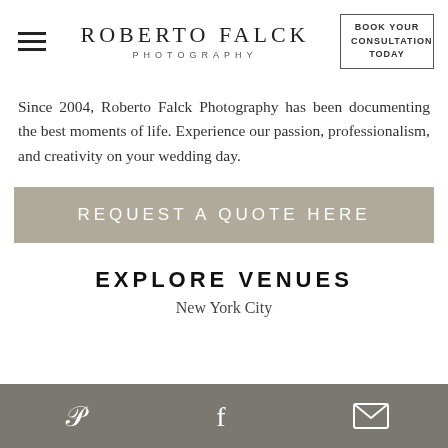ROBERTO FALCK PHOTOGRAPHY | BOOK YOUR CONSULTATION TODAY
Since 2004, Roberto Falck Photography has been documenting the best moments of life. Experience our passion, professionalism, and creativity on your wedding day.
REQUEST A QUOTE HERE
EXPLORE VENUES
New York City
Pinterest | Facebook | Email